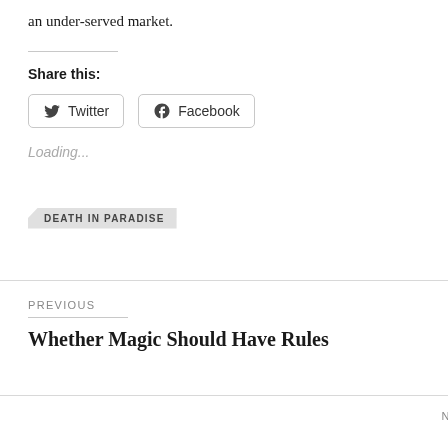an under-served market.
Share this:
Twitter
Facebook
Loading...
DEATH IN PARADISE
PREVIOUS
Whether Magic Should Have Rules
NEXT